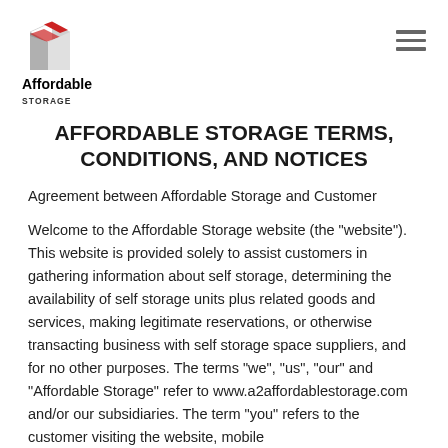[Figure (logo): Affordable Storage logo with stylized box icon and company name text]
AFFORDABLE STORAGE TERMS, CONDITIONS, AND NOTICES
Agreement between Affordable Storage and Customer
Welcome to the Affordable Storage website (the "website"). This website is provided solely to assist customers in gathering information about self storage, determining the availability of self storage units plus related goods and services, making legitimate reservations, or otherwise transacting business with self storage space suppliers, and for no other purposes. The terms "we", "us", "our" and "Affordable Storage" refer to www.a2affordablestorage.com and/or our subsidiaries. The term "you" refers to the customer visiting the website, mobile